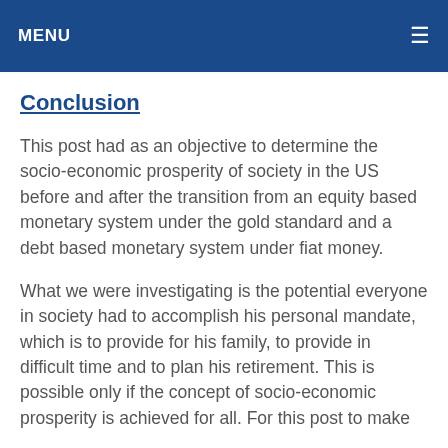MENU
Conclusion
This post had as an objective to determine the socio-economic prosperity of society in the US before and after the transition from an equity based monetary system under the gold standard and a debt based monetary system under fiat money.
What we were investigating is the potential everyone in society had to accomplish his personal mandate, which is to provide for his family, to provide in difficult time and to plan his retirement. This is possible only if the concept of socio-economic prosperity is achieved for all. For this post to make